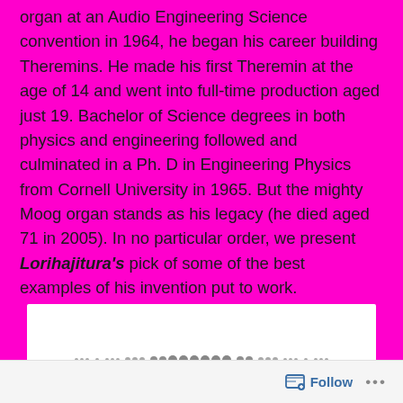organ at an Audio Engineering Science convention in 1964, he began his career building Theremins. He made his first Theremin at the age of 14 and went into full-time production aged just 19. Bachelor of Science degrees in both physics and engineering followed and culminated in a Ph. D in Engineering Physics from Cornell University in 1965. But the mighty Moog organ stands as his legacy (he died aged 71 in 2005). In no particular order, we present Lorihajitura's pick of some of the best examples of his invention put to work.
[Figure (screenshot): White card area with faint dot pattern suggesting a music/audio visualization or loading indicator, at the bottom of the magenta section.]
Follow ...